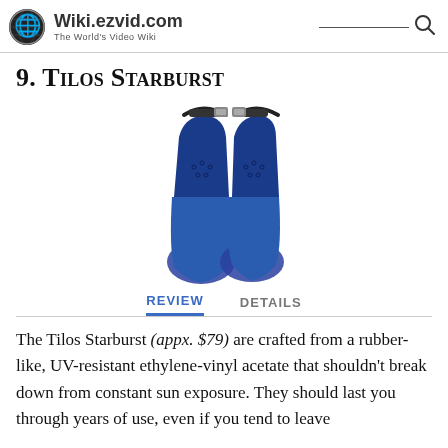Wiki.ezvid.com — The World's Video Wiki
9. Tilos Starburst
[Figure (photo): A pair of blue Tilos Starburst swimming fins photographed from the front, standing upright on a white background.]
REVIEW   DETAILS
The Tilos Starburst (appx. $79) are crafted from a rubber-like, UV-resistant ethylene-vinyl acetate that shouldn't break down from constant sun exposure. They should last you through years of use, even if you tend to leave